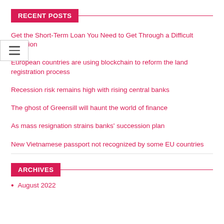RECENT POSTS
Get the Short-Term Loan You Need to Get Through a Difficult Situation
European countries are using blockchain to reform the land registration process
Recession risk remains high with rising central banks
The ghost of Greensill will haunt the world of finance
As mass resignation strains banks' succession plan
New Vietnamese passport not recognized by some EU countries
ARCHIVES
August 2022